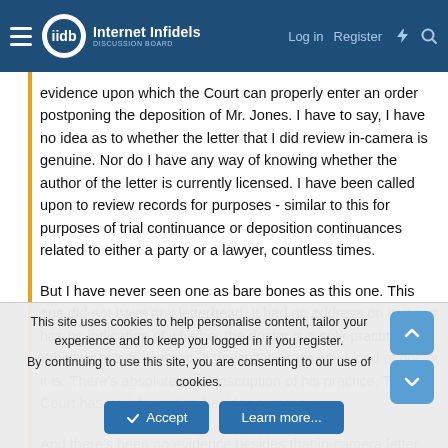Internet Infidels — Log in | Register
evidence upon which the Court can properly enter an order postponing the deposition of Mr. Jones. I have to say, I have no idea as to whether the letter that I did review in-camera is genuine. Nor do I have any way of knowing whether the author of the letter is currently licensed. I have been called upon to review records for purposes - similar to this for purposes of trial continuance or deposition continuances related to either a party or a lawyer, countless times.
But I have never seen one as bare bones as this one. This one did not have any letterhead. It had no address on it. It just has no indication of whether the doctor is a sole practitioner. Whether he's in a group. It doesn't indicate what kind of doctor it is. There's absolutely no description of his practice. The Court has no information besides a name.
And there's been no evidence besides that in-camera letter. The letter fails to address the length of the patient/physician relationship. It does
This site uses cookies to help personalise content, tailor your experience and to keep you logged in if you register.
By continuing to use this site, you are consenting to our use of cookies.